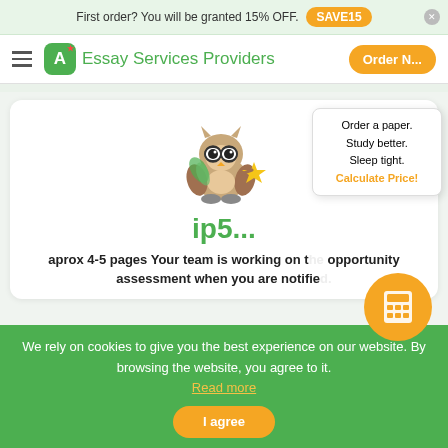First order? You will be granted 15% OFF. SAVE15
Essay Services Providers Order N...
[Figure (illustration): Cartoon owl mascot holding a gold star, wearing glasses, with green academic styling]
ip5...
aprox 4-5 pages Your team is working on the opportunity assessment when you are notified.
Order a paper. Study better. Sleep tight. Calculate Price!
We rely on cookies to give you the best experience on our website. By browsing the website, you agree to it. Read more
I agree